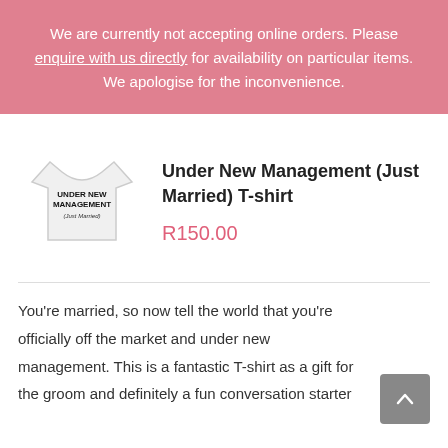We are currently not accepting online orders. Please enquire with us directly for availability on particular items. We apologise for the inconvenience.
[Figure (photo): White t-shirt with text 'UNDER NEW MANAGEMENT (Just Married)' printed on it]
Under New Management (Just Married) T-shirt
R150.00
You're married, so now tell the world that you're officially off the market and under new management. This is a fantastic T-shirt as a gift for the groom and definitely a fun conversation starter